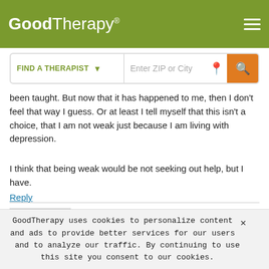GoodTherapy®
[Figure (screenshot): GoodTherapy website header with logo and hamburger menu on olive-green background, and a 'Find a Therapist' search bar with ZIP or City input and orange search button]
been taught. But now that it has happened to me, then I don't feel that way I guess. Or at least I tell myself that this isn't a choice, that I am not weak just because I am living with depression.
I think that being weak would be not seeking out help, but I have.
Reply
Juliet
August 16th, 2014 at 1:33 PM
GoodTherapy uses cookies to personalize content and ads to provide better services for our users and to analyze our traffic. By continuing to use this site you consent to our cookies.